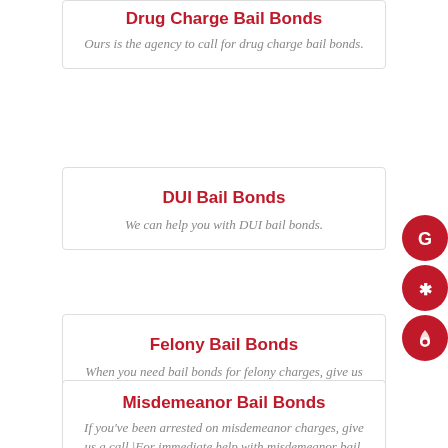Drug Charge Bail Bonds
Ours is the agency to call for drug charge bail bonds.
DUI Bail Bonds
We can help you with DUI bail bonds.
Felony Bail Bonds
When you need bail bonds for felony charges, give us a call.
Misdemeanor Bail Bonds
If you've been arrested on misdemeanor charges, give us a call.|For immediate help with misdemeanor bail, give us a call.|Call us today for prompt help with misdemeanor bail.|We have bond agents on-call 24/7 for misdemeanor bail.